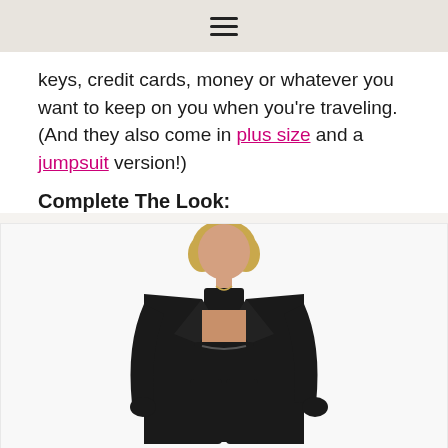☰
keys, credit cards, money or whatever you want to keep on you when you're traveling. (And they also come in plus size and a jumpsuit version!)
Complete The Look:
[Figure (photo): A woman wearing a black cardigan/duster over a black sports bra and black jogger pants with drawstring, standing with hands in pockets]